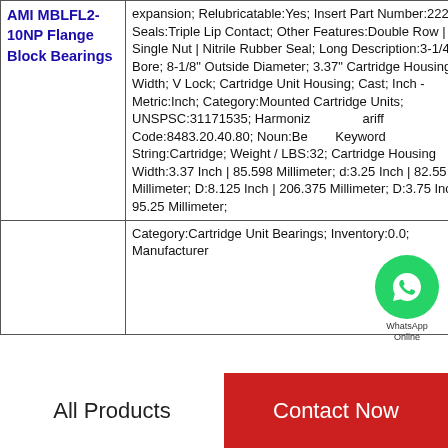| Product | Specifications |
| --- | --- |
| AMI MBLFL2-10NP Flange Block Bearings | expansion; Relubricatable:Yes; Insert Part Number:22220; Seals:Triple Lip Contact; Other Features:Double Row | Single Nut | Nitrile Rubber Seal; Long Description:3-1/4" Bore; 8-1/8" Outside Diameter; 3.37" Cartridge Housing Width; V Lock; Cartridge Unit Housing; Cast; Inch - Metric:Inch; Category:Mounted Cartridge Units; UNSPSC:31171535; Harmonized Tariff Code:8483.20.40.80; Noun:Bearing; Keyword String:Cartridge; Weight / LBS:32; Cartridge Housing Width:3.37 Inch | 85.598 Millimeter; d:3.25 Inch | 82.55 Millimeter; D:8.125 Inch | 206.375 Millimeter; D:3.75 Inch | 95.25 Millimeter; |
|  | Category:Cartridge Unit Bearings; Inventory:0.0; Manufacturer |
All Products   Contact Now